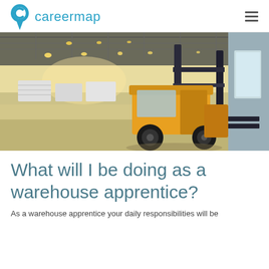careermap
[Figure (photo): A forklift truck operating inside a large warehouse with high ceilings, bright overhead lights, and a wide open concrete floor. The forklift is yellow/orange and positioned toward the right side of the image.]
What will I be doing as a warehouse apprentice?
As a warehouse apprentice your daily responsibilities will be